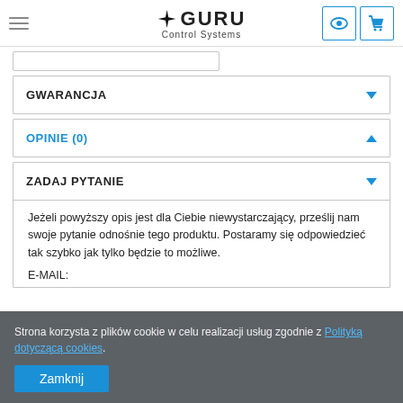GURU Control Systems
GWARANCJA
OPINIE (0)
ZADAJ PYTANIE
Jeżeli powyższy opis jest dla Ciebie niewystarczający, prześlij nam swoje pytanie odnośnie tego produktu. Postaramy się odpowiedzieć tak szybko jak tylko będzie to możliwe.
E-MAIL:
Strona korzysta z plików cookie w celu realizacji usług zgodnie z Polityką dotyczącą cookies. Zamknij